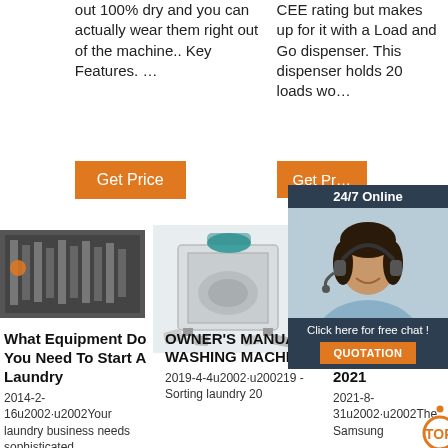out 100% dry and you can actually wear them right out of the machine.. Key Features. …
CEE rating but makes up for it with a Load and Go dispenser. This dispenser holds 20 loads wo…
[Figure (photo): Customer service representative with headset, chat widget with '24/7 Online', 'Click here for free chat!', and QUOTATION button]
[Figure (photo): Black and white photo of industrial laundry equipment interior]
[Figure (photo): White dishwasher/washing machine with open door, teal pot on top, items inside]
[Figure (photo): Partially visible washing machine photo]
What Equipment Do You Need To Start A Laundry
2014-2-16u2002·u2002Your laundry business needs sophisticated.
OWNER'S MANUAL WASHING MACHINE
2019-4-4u2002·u200219 - Sorting laundry 20
The 8 Best Front Load Washers Of 2021
2021-8-31u2002·u2002The Samsung